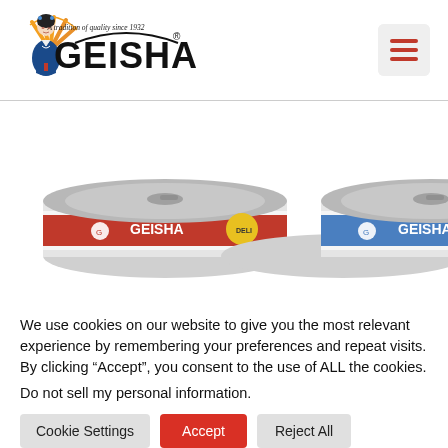[Figure (logo): Geisha brand logo with geisha illustration holding a fan, text 'A tradition of quality since 1932' in script, and 'GEISHA' in large bold letters with registered trademark symbol]
[Figure (other): Hamburger menu icon (three horizontal red lines) on a light gray rounded square background]
[Figure (photo): Two Geisha branded canned seafood products partially visible at bottom of content area - left can has red label, right can has blue/white label]
We use cookies on our website to give you the most relevant experience by remembering your preferences and repeat visits. By clicking “Accept”, you consent to the use of ALL the cookies.
Do not sell my personal information.
Cookie Settings | Accept | Reject All